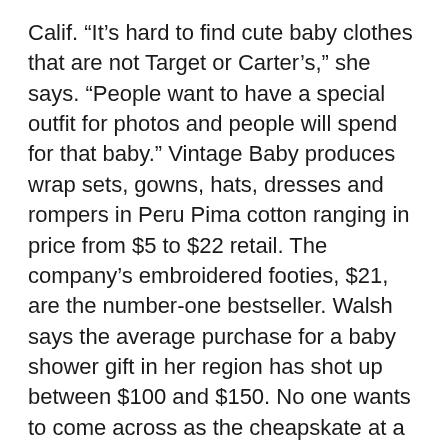Calif. “It’s hard to find cute baby clothes that are not Target or Carter’s,” she says. “People want to have a special outfit for photos and people will spend for that baby.” Vintage Baby produces wrap sets, gowns, hats, dresses and rompers in Peru Pima cotton ranging in price from $5 to $22 retail. The company’s embroidered footies, $21, are the number-one bestseller. Walsh says the average purchase for a baby shower gift in her region has shot up between $100 and $150. No one wants to come across as the cheapskate at a party in Silicon Valley, she explains. “They’ll buy several items,” says Walsh. “They’ll buy and toy and a hat—make it a nice.”
These days, parents are willing to shell out more money for brands that have baby-healthy